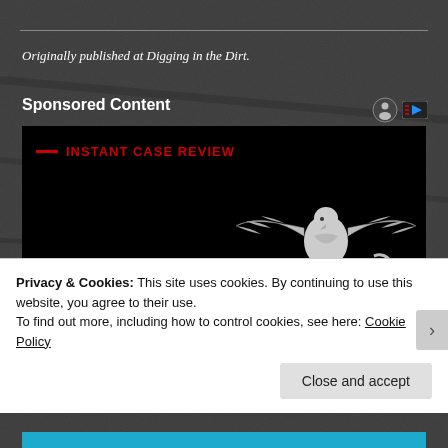Originally published at Digging in the Dirt.
Sponsored Content
[Figure (illustration): Advertisement image with black background showing INSTANT CASE REVIEW label with red dash, a Navy/Marine Corps eagle emblem, and large yellow text reading CAMP LEJEUNE]
Privacy & Cookies: This site uses cookies. By continuing to use this website, you agree to their use.
To find out more, including how to control cookies, see here: Cookie Policy
Close and accept